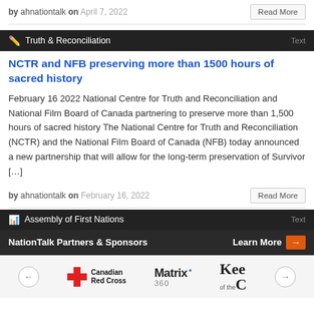by ahnationtalk on April 7, 2022
Read More
Truth & Reconciliation
NCTR and NFB preserving more than 1500 hours of sacred history
February 16 2022 National Centre for Truth and Reconciliation and National Film Board of Canada partnering to preserve more than 1,500 hours of sacred history The National Centre for Truth and Reconciliation (NCTR) and the National Film Board of Canada (NFB) today announced a new partnership that will allow for the long-term preservation of Survivor [...]
by ahnationtalk on February 16, 2022
Read More
Assembly of First Nations
NationTalk Partners & Sponsors
Learn More